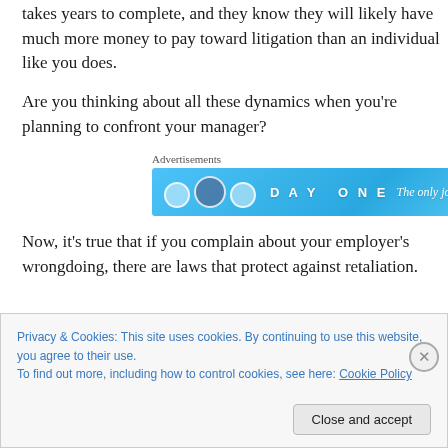takes years to complete, and they know they will likely have much more money to pay toward litigation than an individual like you does.
Are you thinking about all these dynamics when you're planning to confront your manager?
[Figure (other): Advertisement banner for Day One journaling app with blue gradient background, showing app icon circles and text 'DAY ONE' and 'The only journaling']
Now, it's true that if you complain about your employer's wrongdoing, there are laws that protect against retaliation.
Privacy & Cookies: This site uses cookies. By continuing to use this website, you agree to their use.
To find out more, including how to control cookies, see here: Cookie Policy